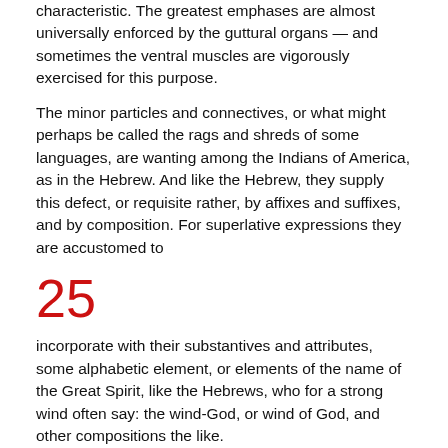characteristic. The greatest emphases are almost universally enforced by the guttural organs — and sometimes the ventral muscles are vigorously exercised for this purpose.
The minor particles and connectives, or what might perhaps be called the rags and shreds of some languages, are wanting among the Indians of America, as in the Hebrew. And like the Hebrew, they supply this defect, or requisite rather, by affixes and suffixes, and by composition. For superlative expressions they are accustomed to
25
incorporate with their substantives and attributes, some alphabetic element, or elements of the name of the Great Spirit, like the Hebrews, who for a strong wind often say: the wind-God, or wind of God, and other compositions the like.
The author of the "Star in the West" has collected and collated a multitude of words from sundry Indian languages, composed substantially of the same alphabetical elements, nearly under the same combinations, and sometimes identical in their forms with Hebrew terms employed to express similar, and often the same ideas. The subject is curious, and even practically important, and